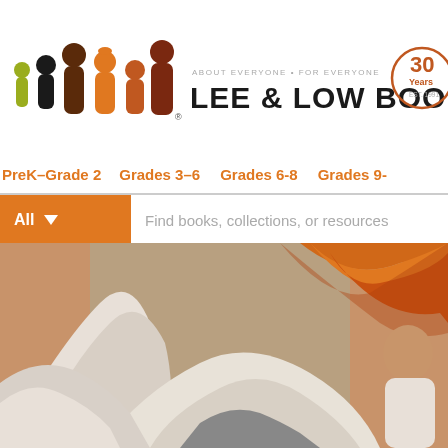[Figure (logo): Lee & Low Books logo with colorful silhouette figures and 30 Years badge]
ABOUT EVERYONE • FOR EVERYONE | LEE & LOW BOOKS | 30 Years
PreK–Grade 2   Grades 3–6   Grades 6-8   Grades 9-
All   Find books, collections, or resources
[Figure (photo): Photo of people in white fabric/cloth, warm tones with orange/golden background]